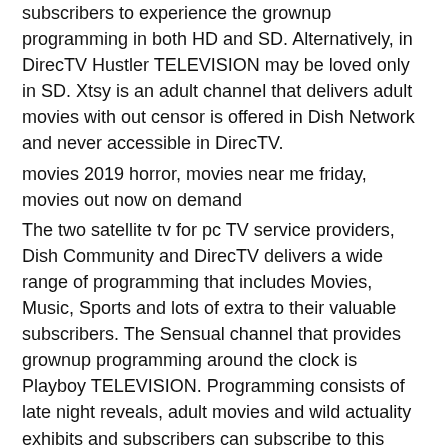subscribers to experience the grownup programming in both HD and SD. Alternatively, in DirecTV Hustler TELEVISION may be loved only in SD. Xtsy is an adult channel that delivers adult movies with out censor is offered in Dish Network and never accessible in DirecTV.
movies 2019 horror, movies near me friday, movies out now on demand
The two satellite tv for pc TV service providers, Dish Community and DirecTV delivers a wide range of programming that includes Movies, Music, Sports and lots of extra to their valuable subscribers. The Sensual channel that provides grownup programming around the clock is Playboy TELEVISION. Programming consists of late night reveals, adult movies and wild actuality exhibits and subscribers can subscribe to this channel by way of pay per view for restricted hours for just $9.99.
Top 10 Doris